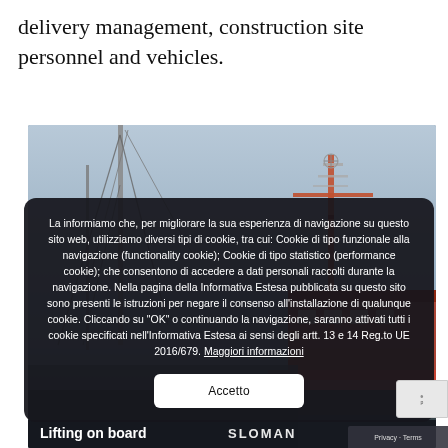delivery management, construction site personnel and vehicles.
[Figure (photo): Construction site photo showing cranes and maritime/industrial equipment against a sky background, with caption 'Lifting on board' and SLOMAN branding visible at the bottom.]
La informiamo che, per migliorare la sua esperienza di navigazione su questo sito web, utilizziamo diversi tipi di cookie, tra cui: Cookie di tipo funzionale alla navigazione (functionality cookie); Cookie di tipo statistico (performance cookie); che consentono di accedere a dati personali raccolti durante la navigazione. Nella pagina della Informativa Estesa pubblicata su questo sito sono presenti le istruzioni per negare il consenso all'installazione di qualunque cookie. Cliccando su "OK" o continuando la navigazione, saranno attivati tutti i cookie specificati nell'Informativa Estesa ai sensi degli artt. 13 e 14 Reg.to UE 2016/679. Maggiori informazioni
Accetto
Lifting on board